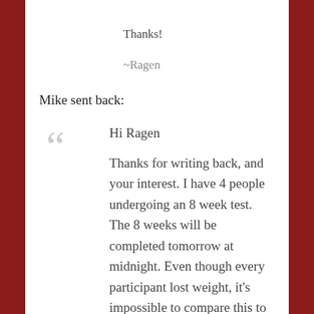Thanks!
~Ragen
Mike sent back:
Hi Ragen

Thanks for writing back, and your interest. I have 4 people undergoing an 8 week test. The 8 weeks will be completed tomorrow at midnight. Even though every participant lost weight, it's impossible to compare this to the millions of people every year that try diets and fail. Would